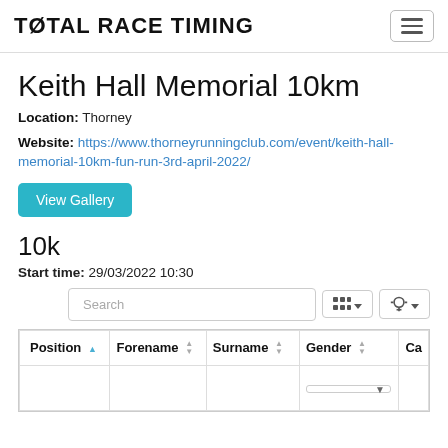TOTAL RACE TIMING
Keith Hall Memorial 10km
Location: Thorney
Website: https://www.thorneyrunningclub.com/event/keith-hall-memorial-10km-fun-run-3rd-april-2022/
View Gallery
10k
Start time: 29/03/2022 10:30
| Position | Forename | Surname | Gender | Ca |
| --- | --- | --- | --- | --- |